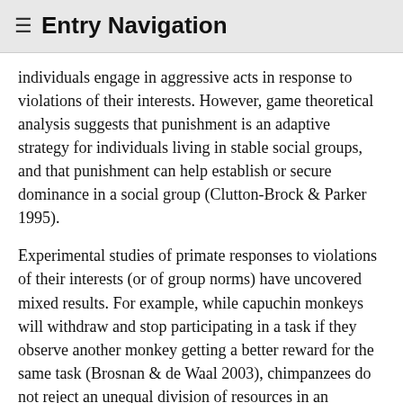≡ Entry Navigation
individuals engage in aggressive acts in response to violations of their interests. However, game theoretical analysis suggests that punishment is an adaptive strategy for individuals living in stable social groups, and that punishment can help establish or secure dominance in a social group (Clutton-Brock & Parker 1995).
Experimental studies of primate responses to violations of their interests (or of group norms) have uncovered mixed results. For example, while capuchin monkeys will withdraw and stop participating in a task if they observe another monkey getting a better reward for the same task (Brosnan & de Waal 2003), chimpanzees do not reject an unequal division of resources in an ultimatum game (Jensen et al. 2007) (see philosophy of economics). Jensen and colleagues suggest that chimpanzees may not be concerned with fairness, and are instead rational maximizers of resources. In response it has been argued that just as what counts as fair differs among human communities, what is unfair to humans may not be unfair to another species; researchers should consider natural